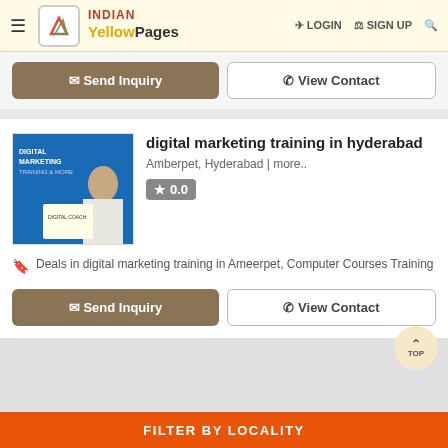INDIAN Yellow Pages | LOGIN | SIGN UP
[Figure (screenshot): Send Inquiry and View Contact buttons (partially visible from previous listing)]
digital marketing training in hyderabad
Amberpet, Hyderabad | more..
0.0
Deals in digital marketing training in Ameerpet, Computer Courses Training
[Figure (logo): Digital marketing training thumbnail image with blue background and text]
FILTER BY LOCALITY